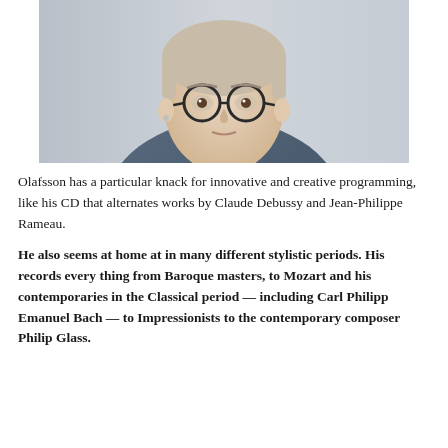[Figure (photo): Portrait photo of a young man with round glasses, short hair, wearing a white shirt and blue-grey blazer, against a light grey blurred background.]
Olafsson has a particular knack for innovative and creative programming, like his CD that alternates works by Claude Debussy and Jean-Philippe Rameau.
He also seems at home at in many different stylistic periods. His records every thing from Baroque masters, to Mozart and his contemporaries in the Classical period — including Carl Philipp Emanuel Bach — to Impressionists to the contemporary composer Philip Glass.